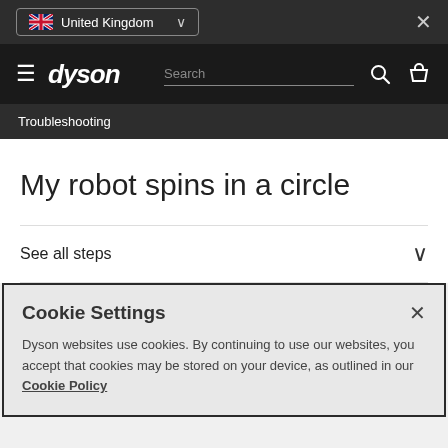United Kingdom
dyson | Search
Troubleshooting
My robot spins in a circle
See all steps
Cookie Settings
Dyson websites use cookies. By continuing to use our websites, you accept that cookies may be stored on your device, as outlined in our Cookie Policy